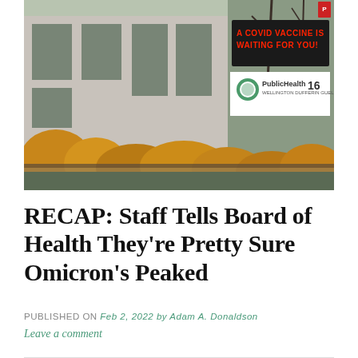[Figure (photo): Exterior photo of a Public Health building (Wellington-Dufferin-Guelph Public Health, 160) with an LED sign reading 'A COVID VACCINE IS WAITING FOR YOU!' in red text. Yellow autumn shrubs and bare trees in foreground.]
RECAP: Staff Tells Board of Health They're Pretty Sure Omicron's Peaked
PUBLISHED ON Feb 2, 2022 by Adam A. Donaldson
Leave a comment